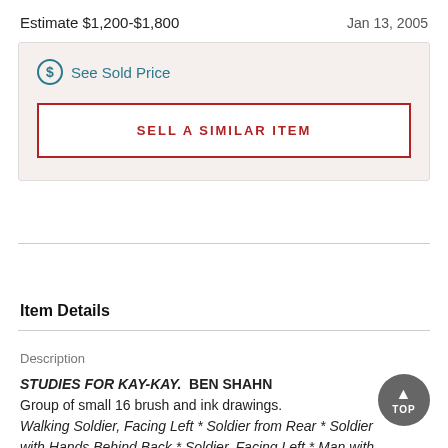Estimate $1,200-$1,800
Jan 13, 2005
See Sold Price
SELL A SIMILAR ITEM
Item Details
Description
STUDIES FOR KAY-KAY. BEN SHAHN Group of small 16 brush and ink drawings. Walking Soldier, Facing Left * Soldier from Rear * Soldier with Hands Behind Back * Soldier, Facing Left * Man with